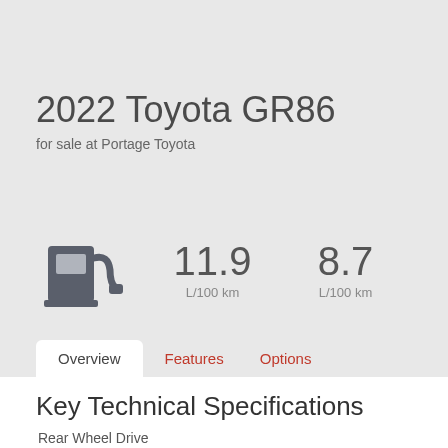2022 Toyota GR86
for sale at Portage Toyota
[Figure (infographic): Fuel pump icon with two fuel consumption stats: 11.9 L/100 km and 8.7 L/100 km]
Overview   Features   Options
Key Technical Specifications
Rear Wheel Drive